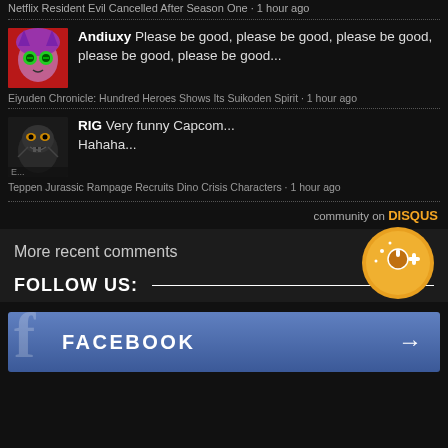Netflix Resident Evil Cancelled After Season One · 1 hour ago
Andiuxy Please be good, please be good, please be good, please be good, please be good...
Eiyuden Chronicle: Hundred Heroes Shows Its Suikoden Spirit · 1 hour ago
RIG Very funny Capcom... Hahaha...
Teppen Jurassic Rampage Recruits Dino Crisis Characters · 1 hour ago
community on DISQUS
More recent comments
FOLLOW US:
FACEBOOK